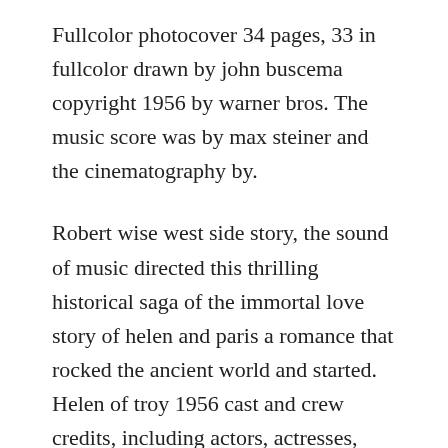Fullcolor photocover 34 pages, 33 in fullcolor drawn by john buscema copyright 1956 by warner bros. The music score was by max steiner and the cinematography by.
Robert wise west side story, the sound of music directed this thrilling historical saga of the immortal love story of helen and paris a romance that rocked the ancient world and started. Helen of troy 1956 cast and crew credits, including actors, actresses, directors, writers and more. Fullcolor photocover 34 pages, 33 in full color drawn by john buscema